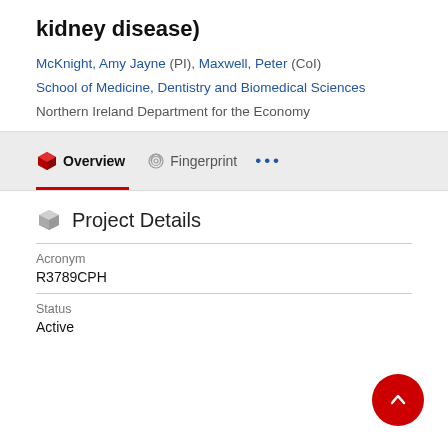kidney disease)
McKnight, Amy Jayne (PI), Maxwell, Peter (CoI)
School of Medicine, Dentistry and Biomedical Sciences
Northern Ireland Department for the Economy
Project Details
| Field | Value |
| --- | --- |
| Acronym | R3789CPH |
| Status | Active |